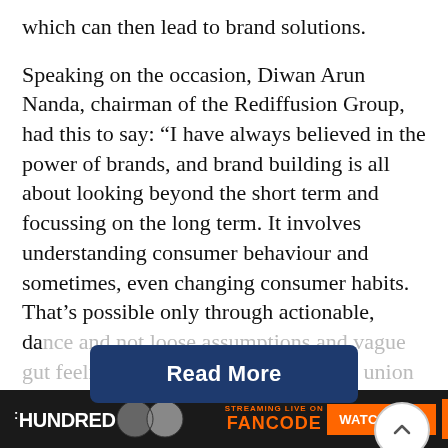which can then lead to brand solutions.

Speaking on the occasion, Diwan Arun Nanda, chairman of the Rediffusion Group, had this to say: “I have always believed in the power of brands, and brand building is all about looking beyond the short term and focussing on the long term. It involves understanding consumer behaviour and sometimes, even changing consumer habits. That’s possible only through actionable, da[...] e and not loose assumptions and vague gut feelings. And Red Lab will be that union of wise counsel for...
[Figure (other): Read More button overlay (dark navy blue rounded rectangle) and a scroll-up arrow button (circular with upward chevron)]
HUNDRED | STREAMING LIVE ON FANCODE | WATCH NOW